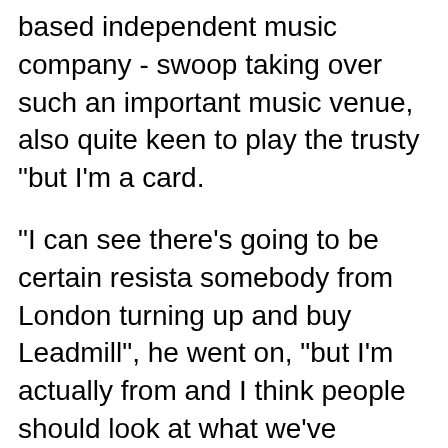based independent music company - swoop taking over such an important music venue, also quite keen to play the trusty "but I'm a card.
"I can see there's going to be certain resistance somebody from London turning up and buying the Leadmill", he went on, "but I'm actually from Sheffield and I think people should look at what we've done elsewhere and judge us on that. If people go and ask the people we work with they'll find out we're good and we're music people".
The Electric Group - co-founded by Madden and Lewis, part of the Lewis family that owns the retail chain among other businesses - grew